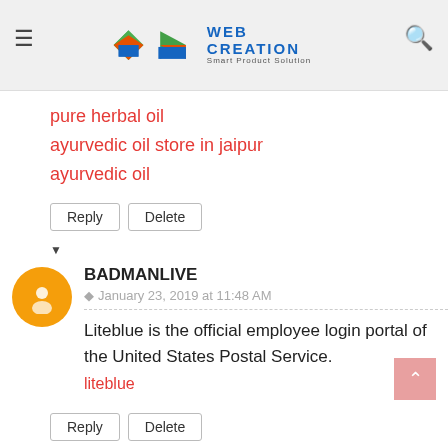Web Creation header with hamburger menu, logo, and search icon
pure herbal oil
ayurvedic oil store in jaipur
ayurvedic oil
Reply | Delete
BADMANLIVE
January 23, 2019 at 11:48 AM
Liteblue is the official employee login portal of the United States Postal Service.
liteblue
Reply | Delete
ADITYA